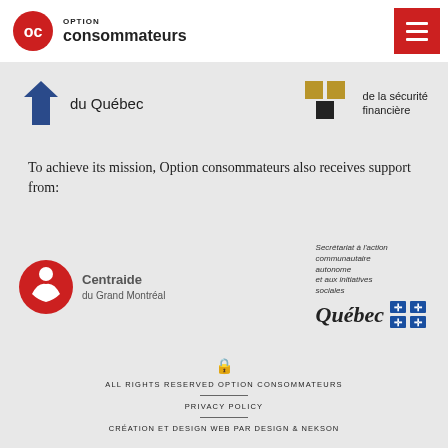Option consommateurs
[Figure (logo): Option consommateurs logo with red OC icon and text]
[Figure (logo): Partial sponsor logos: du Québec and de la sécurité financière]
To achieve its mission, Option consommateurs also receives support from:
[Figure (logo): Centraide du Grand Montréal logo (red circular icon)]
[Figure (logo): Secrétariat à l'action communautaire autonome et aux initiatives sociales - Québec logo]
ALL RIGHTS RESERVED OPTION CONSOMMATEURS | PRIVACY POLICY | CRÉATION ET DESIGN WEB PAR DESIGN & NEKSON